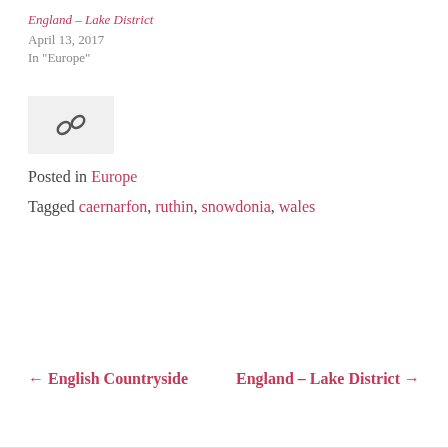England – Lake District
April 13, 2017
In "Europe"
[Figure (other): Share/link icon in a light grey rounded box]
Posted in Europe
Tagged caernarfon, ruthin, snowdonia, wales
← English Countryside     England – Lake District →